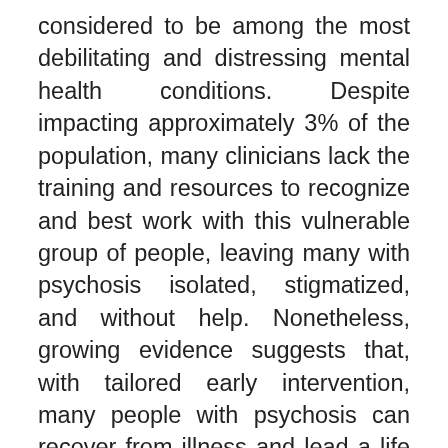considered to be among the most debilitating and distressing mental health conditions. Despite impacting approximately 3% of the population, many clinicians lack the training and resources to recognize and best work with this vulnerable group of people, leaving many with psychosis isolated, stigmatized, and without help. Nonetheless, growing evidence suggests that, with tailored early intervention, many people with psychosis can recover from illness and lead a life of their choosing in the community. This seminar will familiarize you with psychosis, emphasizing the early phases of illness. It will then demonstrate strategies for reducing stigma, increasing empathy, and facilitating early identification. I will share screening tools and briefly touch on treatment strategies, as well as provide clinical resources for comprehensive